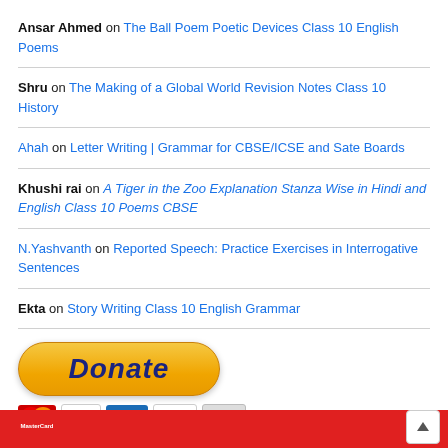Ansar Ahmed on The Ball Poem Poetic Devices Class 10 English Poems
Shru on The Making of a Global World Revision Notes Class 10 History
Ahah on Letter Writing | Grammar for CBSE/ICSE and Sate Boards
Khushi rai on A Tiger in the Zoo Explanation Stanza Wise in Hindi and English Class 10 Poems CBSE
N.Yashvanth on Reported Speech: Practice Exercises in Interrogative Sentences
Ekta on Story Writing Class 10 English Grammar
[Figure (infographic): PayPal Donate button (gold rounded rectangle with italic bold 'Donate' text) above payment card icons: MasterCard, VISA, American Express, Discover, BANK]
Red footer bar with scroll-to-top button